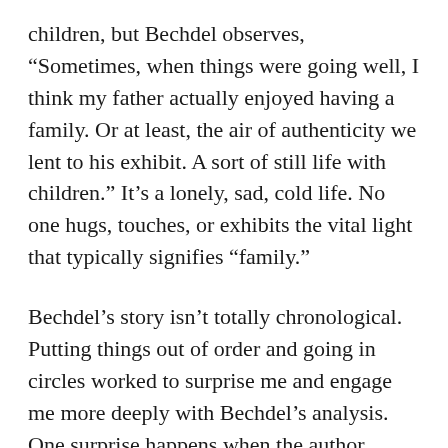children, but Bechdel observes, “Sometimes, when things were going well, I think my father actually enjoyed having a family. Or at least, the air of authenticity we lent to his exhibit. A sort of still life with children.” It’s a lonely, sad, cold life. No one hugs, touches, or exhibits the vital light that typically signifies “family.”
Bechdel’s story isn’t totally chronological. Putting things out of order and going in circles worked to surprise me and engage me more deeply with Bechdel’s analysis. One surprise happens when the author reveals a death: on the left page, the father is bathing a very young